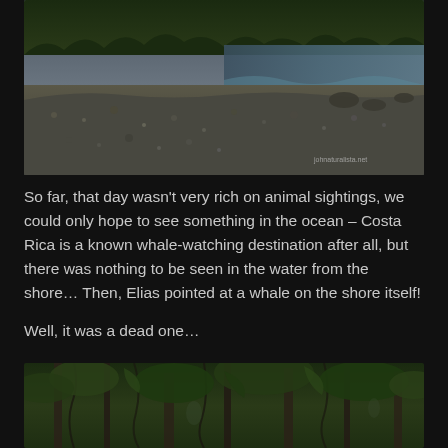[Figure (photo): Rocky shoreline with pebble beach, ocean waves, and tropical jungle in the background under cloudy skies. Watermark reads 'John Naturalista.net'.]
So far, that day wasn't very rich on animal sightings, we could only hope to see something in the ocean – Costa Rica is a known whale-watching destination after all, but there was nothing to be seen in the water from the shore… Then, Elias pointed at a whale on the shore itself!
Well, it was a dead one…
[Figure (photo): Dense tropical forest with trees, vines, and green foliage.]